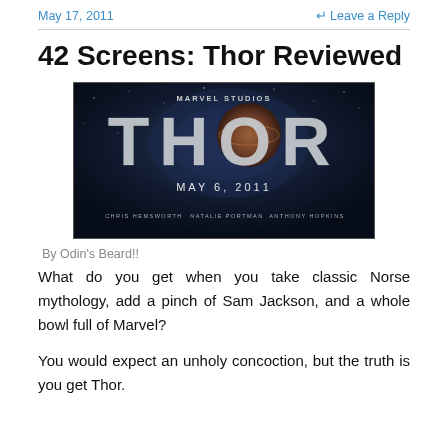May 17, 2011   Leave a Reply
42 Screens: Thor Reviewed
[Figure (illustration): Thor movie promotional poster showing MARVEL STUDIOS at top, large metallic THOR text, MAY 6, 2011 date, and cast names CHRIS HEMSWORTH, NATALIE PORTMAN, ANTHONY HOPKINS at bottom, on a dark cosmic background.]
By Odin's Beard!!
What do you get when you take classic Norse mythology, add a pinch of Sam Jackson, and a whole bowl full of Marvel?
You would expect an unholy concoction, but the truth is you get Thor.